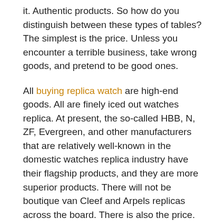it. Authentic products. So how do you distinguish between these types of tables? The simplest is the price. Unless you encounter a terrible business, take wrong goods, and pretend to be good ones.
All buying replica watch are high-end goods. All are finely iced out watches replica. At present, the so-called HBB, N, ZF, Evergreen, and other manufacturers that are relatively well-known in the domestic watches replica industry have their flagship products, and they are more superior products. There will not be boutique van Cleef and Arpels replicas across the board. There is also the price. In the boutique super copies, a penny and a shipment are applicable. This is based on the conscience seller. Don't think that there are hundreds of dollars, and you can buy boutique replica paneria for hundreds of dollars.
The last question is to buy a boutique, replicas designer? Or buy authentic? Unless you have the money and don't know